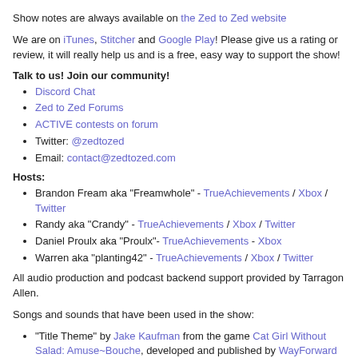Show notes are always available on the Zed to Zed website
We are on iTunes, Stitcher and Google Play! Please give us a rating or review, it will really help us and is a free, easy way to support the show!
Talk to us! Join our community!
Discord Chat
Zed to Zed Forums
ACTIVE contests on forum
Twitter: @zedtozed
Email: contact@zedtozed.com
Hosts:
Brandon Fream aka "Freamwhole" - TrueAchievements / Xbox / Twitter
Randy aka "Crandy" - TrueAchievements / Xbox / Twitter
Daniel Proulx aka "Proulx"- TrueAchievements - Xbox
Warren aka "planting42" - TrueAchievements / Xbox / Twitter
All audio production and podcast backend support provided by Tarragon Allen.
Songs and sounds that have been used in the show:
"Title Theme" by Jake Kaufman from the game Cat Girl Without Salad: Amuse~Bouche, developed and published by WayForward Technologies